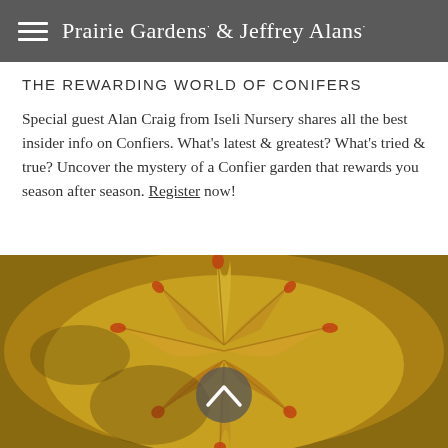Prairie Gardens & Jeffrey Alans
THE REWARDING WORLD OF CONIFERS
Special guest Alan Craig from Iseli Nursery shares all the best insider info on Confiers. What's latest & greatest? What's tried & true? Uncover the mystery of a Confier garden that rewards you season after season. Register now!
[Figure (photo): Close-up photo of Japanese maple leaves in autumn colors — golden yellow and orange with red-tipped edges, with a semi-transparent dark grey circular scroll-up button overlaid in the center]